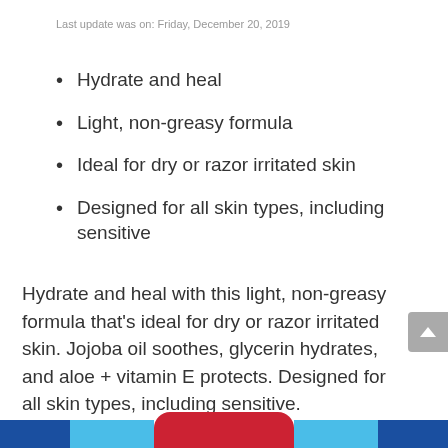Last update was on: Friday, December 20, 2019
Hydrate and heal
Light, non-greasy formula
Ideal for dry or razor irritated skin
Designed for all skin types, including sensitive
Hydrate and heal with this light, non-greasy formula that's ideal for dry or razor irritated skin. Jojoba oil soothes, glycerin hydrates, and aloe + vitamin E protects. Designed for all skin types, including sensitive.